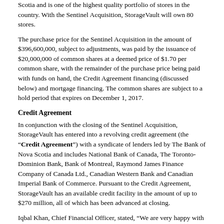Scotia and is one of the highest quality portfolio of stores in the country. With the Sentinel Acquisition, StorageVault will own 80 stores.
The purchase price for the Sentinel Acquisition in the amount of $396,600,000, subject to adjustments, was paid by the issuance of $20,000,000 of common shares at a deemed price of $1.70 per common share, with the remainder of the purchase price being paid with funds on hand, the Credit Agreement financing (discussed below) and mortgage financing. The common shares are subject to a hold period that expires on December 1, 2017.
Credit Agreement
In conjunction with the closing of the Sentinel Acquisition, StorageVault has entered into a revolving credit agreement (the “Credit Agreement”) with a syndicate of lenders led by The Bank of Nova Scotia and includes National Bank of Canada, The Toronto-Dominion Bank, Bank of Montreal, Raymond James Finance Company of Canada Ltd., Canadian Western Bank and Canadian Imperial Bank of Commerce. Pursuant to the Credit Agreement, StorageVault has an available credit facility in the amount of up to $270 million, all of which has been advanced at closing.
Iqbal Khan, Chief Financial Officer, stated, “We are very happy with the credit agreement and its strong sponsorship. It provides us with the flexibility to apply StorageVault’s operating system to the acquisition and the ability to